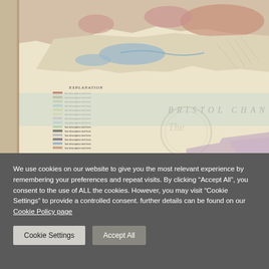[Figure (map): Historical geological/topographical map of the Bristol Channel area and surrounding coastline, showing the BRISTOL CHAN(nel) label in italics, an EXPLANATION legend on the left with colored entries, coastal terrain features in pink/red hues, blue water bodies, and a faint circular watermark reading 'The...' in the center-right area.]
We use cookies on our website to give you the most relevant experience by remembering your preferences and repeat visits. By clicking “Accept All”, you consent to the use of ALL the cookies. However, you may visit "Cookie Settings" to provide a controlled consent. further details can be found on our Cookie Policy page
Cookie Settings
Accept All